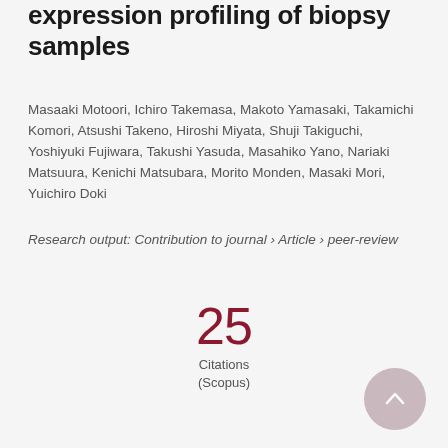expression profiling of biopsy samples
Masaaki Motoori, Ichiro Takemasa, Makoto Yamasaki, Takamichi Komori, Atsushi Takeno, Hiroshi Miyata, Shuji Takiguchi, Yoshiyuki Fujiwara, Takushi Yasuda, Masahiko Yano, Nariaki Matsuura, Kenichi Matsubara, Morito Monden, Masaki Mori, Yuichiro Doki
Research output: Contribution to journal › Article › peer-review
25
Citations
(Scopus)